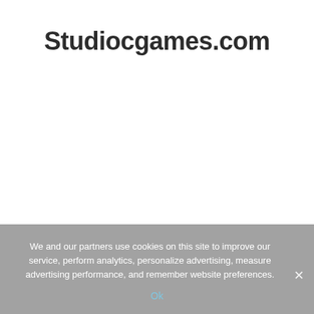Studiocgames.com
We and our partners use cookies on this site to improve our service, perform analytics, personalize advertising, measure advertising performance, and remember website preferences.
Ok